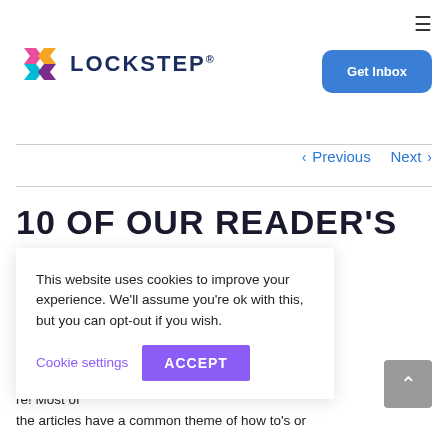≡
[Figure (logo): Lockstep logo with colorful X icon and LOCKSTEP wordmark]
Get Inbox
< Previous   Next >
10 OF OUR READER'S ...OLLECT ...017
This website uses cookies to improve your experience. We'll assume you're ok with this, but you can opt-out if you wish.
Cookie settings   ACCEPT
ear which nteresting, re! Most of the articles have a common theme of how to's or